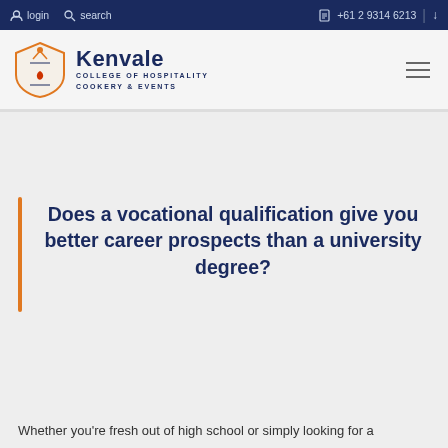login  search  +61 2 9314 6213
[Figure (logo): Kenvale College of Hospitality Cookery & Events shield logo with orange and blue colors]
Does a vocational qualification give you better career prospects than a university degree?
Whether you're fresh out of high school or simply looking for a